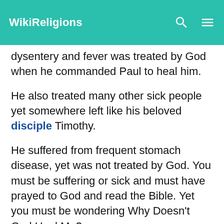WikiReligions
dysentery and fever was treated by God when he commanded Paul to heal him.
He also treated many other sick people yet somewhere left like his beloved disciple Timothy.
He suffered from frequent stomach disease, yet was not treated by God. You must be suffering or sick and must have prayed to God and read the Bible. Yet you must be wondering Why Doesn't God Heal Me?